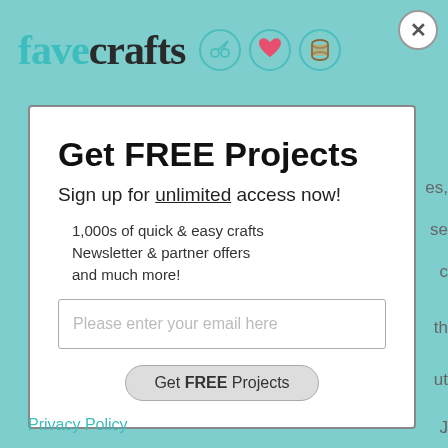[Figure (logo): FaveCrafts logo with scissors, heart, and thread spool icons on teal background]
Get FREE Projects
Sign up for unlimited access now!
1,000s of quick & easy crafts
Newsletter & partner offers
and much more!
Please enter your email here
Get FREE Projects
Privacy Policy